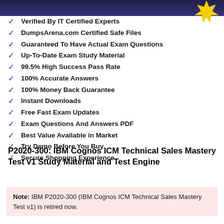[Figure (illustration): Dark navy partial banner/header image at top, with a yellow starburst badge at top right]
Verified By IT Certified Experts
DumpsArena.com Certified Safe Files
Guaranteed To Have Actual Exam Questions
Up-To-Date Exam Study Material
99.5% High Success Pass Rate
100% Accurate Answers
100% Money Back Guarantee
Instant Downloads
Free Fast Exam Updates
Exam Questions And Answers PDF
Best Value Available in Market
Try Demo Before You Buy
Secure Shopping Experience
P2020-300: IBM Cognos ICM Technical Sales Mastery Test v1 Study Material and Test Engine
Note: IBM P2020-300 (IBM Cognos ICM Technical Sales Mastery Test v1) is retired now.